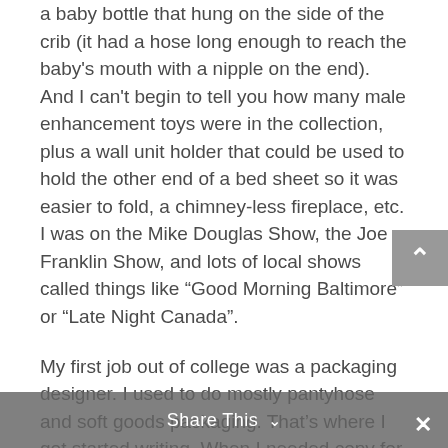a baby bottle that hung on the side of the crib (it had a hose long enough to reach the baby's mouth with a nipple on the end). And I can't begin to tell you how many male enhancement toys were in the collection, plus a wall unit holder that could be used to hold the other end of a bed sheet so it was easier to fold, a chimney-less fireplace, etc. I was on the Mike Douglas Show, the Joe Franklin Show, and lots of local shows called things like “Good Morning Baltimore” or “Late Night Canada”.
My first job out of college was a packaging designer. I used to do mostly pantyhose and soft goods packaging. That’s where I got started writing. When I needed copy for the back of the package the sales reps would say, “Just make something up.” So I did!
Oh yeah...and back in high school I worked at the soda fountain of an ice cream store/luncheonette. Free lunch – and it was always ice cream!
Share This ∨   ✕